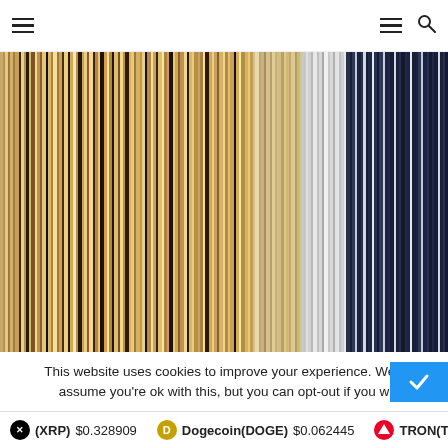Navigation header with hamburger menu and search icon
[Figure (illustration): Abstract vertical color stripes image — warm tones of tan, beige, brown, dark brown, golden yellow, white, grey, and navy blue arranged in thin vertical bands across the full width]
This website uses cookies to improve your experience. We'll assume you're ok with this, but you can opt-out if you w
(XRP) $0.328909  Dogecoin(DOGE) $0.062445  TRON(TR